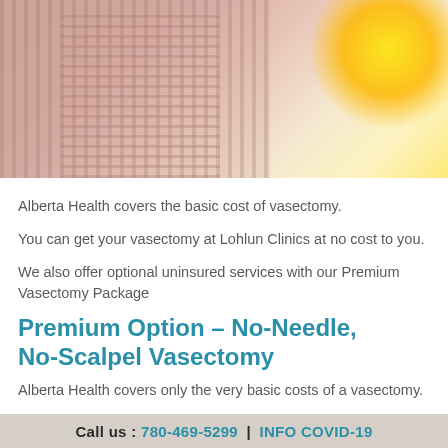[Figure (photo): Photo of a person wearing a striped/checked shirt with a bright sun or light in the upper right corner, warm tones.]
Alberta Health covers the basic cost of vasectomy.
You can get your vasectomy at Lohlun Clinics at no cost to you.
We also offer optional uninsured services with our Premium Vasectomy Package
Premium Option – No-Needle, No-Scalpel Vasectomy
Alberta Health covers only the very basic costs of a vasectomy.
Call us : 780-469-5299 | INFO COVID-19